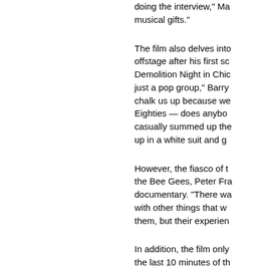doing the interview," Ma musical gifts."
The film also delves into offstage after his first so Demolition Night in Chic just a pop group," Barry chalk us up because we Eighties — does anybo casually summed the up in a white suit and g
However, the fiasco of t the Bee Gees, Peter Fr documentary. "There wa with other things that w them, but their experien
In addition, the film only the last 10 minutes of th Night Only tour in 1997.